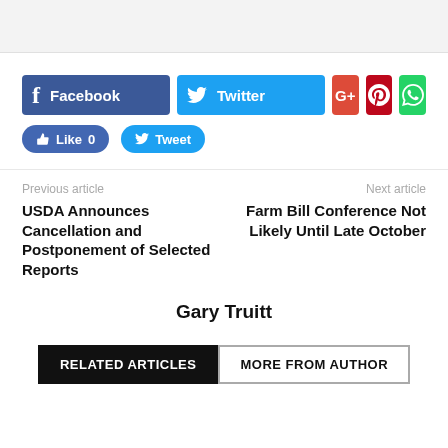[Figure (screenshot): Gray placeholder image area at top of page]
[Figure (infographic): Social share buttons: Facebook, Twitter, Google+, Pinterest, WhatsApp]
[Figure (infographic): Like and Tweet buttons]
Previous article
Next article
USDA Announces Cancellation and Postponement of Selected Reports
Farm Bill Conference Not Likely Until Late October
Gary Truitt
RELATED ARTICLES   MORE FROM AUTHOR